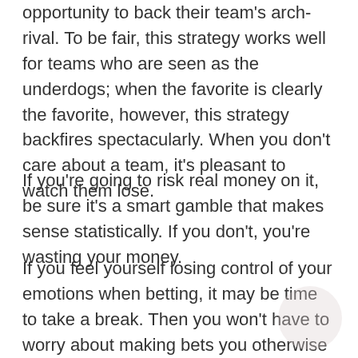opportunity to back their team's arch-rival. To be fair, this strategy works well for teams who are seen as the underdogs; when the favorite is clearly the favorite, however, this strategy backfires spectacularly. When you don't care about a team, it's pleasant to watch them lose.
If you're going to risk real money on it, be sure it's a smart gamble that makes sense statistically. If you don't, you're wasting your money.
If you feel yourself losing control of your emotions when betting, it may be time to take a break. Then you won't have to worry about making bets you otherwise wouldn't have placed.